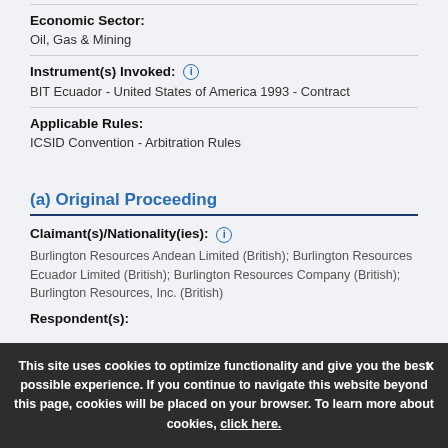Hydrocarbon Combustion
Economic Sector:
Oil, Gas & Mining
Instrument(s) Invoked: (i)
BIT Ecuador - United States of America 1993 - Contract
Applicable Rules:
ICSID Convention - Arbitration Rules
(a) Original Proceeding
Claimant(s)/Nationality(ies): (i)
Burlington Resources Andean Limited (British); Burlington Resources Ecuador Limited (British); Burlington Resources Company (British); Burlington Resources, Inc. (British)
Respondent(s):
This site uses cookies to optimize functionality and give you the best possible experience. If you continue to navigate this website beyond this page, cookies will be placed on your browser. To learn more about cookies, click here.